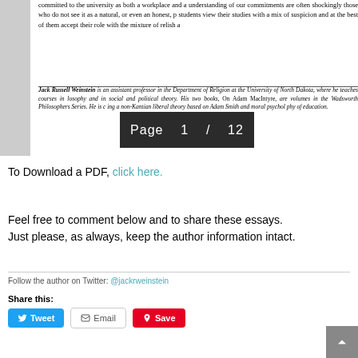committed to the university as both a workplace and a understanding of our commitments are often shockingly those who do not see it as a natural, or even an honest, p students view their studies with a mix of suspicion and at the best of them accept their role with the mixture of relish a
Jack Russell Weinstein is an assistant professor in the Department of Religion at the University of North Dakota, where he teaches courses in philosophy and in social and political theory. His two books, On Adam MacIntyre, are volumes in the Wadsworth Philosophers Series. He is c ing a non-Kantian liberal theory based on Adam Smith and moral psychology of education.
To Download a PDF, click here.
Feel free to comment below and to share these essays.
Just please, as always, keep the author information intact.
Follow the author on Twitter: @jackrweinstein
Share this: